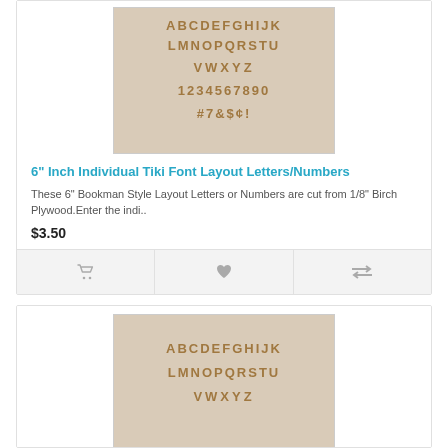[Figure (photo): Photo of wooden Tiki font layout letters, numbers, and symbols cut from birch plywood, arranged in rows on a light background. Shows alphabet rows, numbers 1234567890, and symbols #7&$¢!]
6" Inch Individual Tiki Font Layout Letters/Numbers
These 6" Bookman Style Layout Letters or Numbers are cut from 1/8" Birch Plywood.Enter the indi..
$3.50
[Figure (photo): Photo of wooden letters in Tiki font style showing alphabets ABCDEFGHIJK, LMNOPQRSTU, VWXYZ arranged in rows on a light background]